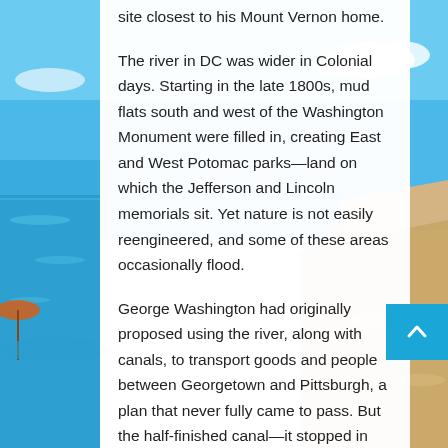[Figure (photo): Beach scene background with blue sky, ocean water on the left side and sandy beach on the right side, with a partial view of a beach umbrella.]
site closest to his Mount Vernon home.
The river in DC was wider in Colonial days. Starting in the late 1800s, mud flats south and west of the Washington Monument were filled in, creating East and West Potomac parks—land on which the Jefferson and Lincoln memorials sit. Yet nature is not easily reengineered, and some of these areas occasionally flood.
George Washington had originally proposed using the river, along with canals, to transport goods and people between Georgetown and Pittsburgh, a plan that never fully came to pass. But the half-finished canal—it stopped in